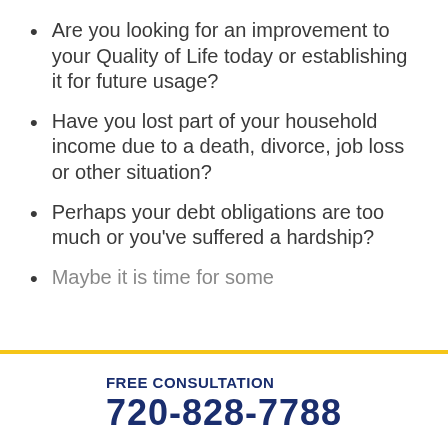Are you looking for an improvement to your Quality of Life today or establishing it for future usage?
Have you lost part of your household income due to a death, divorce, job loss or other situation?
Perhaps your debt obligations are too much or you've suffered a hardship?
Maybe it is time for some…
FREE CONSULTATION
720-828-7788